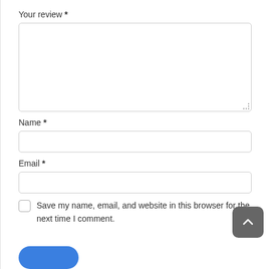Your review *
[Figure (screenshot): Empty textarea input box for review text]
Name *
[Figure (screenshot): Empty single-line text input for name]
Email *
[Figure (screenshot): Empty single-line text input for email]
Save my name, email, and website in this browser for the next time I comment.
[Figure (screenshot): Gray rounded back-to-top button with upward chevron arrow]
[Figure (screenshot): Blue rounded submit button partially visible at bottom]